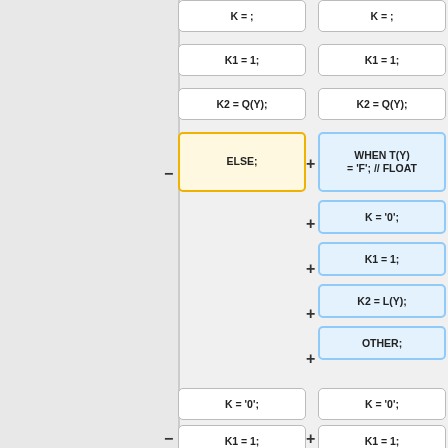[Figure (other): Code diff comparison showing two columns of code blocks. Left column (original) has white/yellow boxes with ELSE and ENDIF highlighted. Right column (modified) has white/blue boxes with added WHEN T(Y)='F'; // FLOAT, K='0';, K1=1;, K2=L(Y);, OTHER;, ENDSL; highlighted in blue. Both columns share common rows: K=1;, K1=1;, K2=Q(Y);, then diverge for conditional blocks, then reconverge at K='0';, K1=1;, K2=C(Y);, and finally blank rows and X=1;]